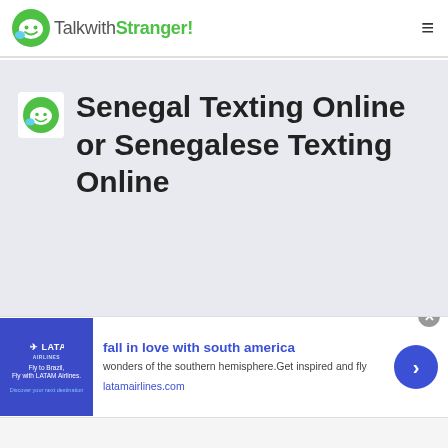TalkwithStranger!
Senegal Texting Online or Senegalese Texting Online
[Figure (infographic): LATAM Airlines advertisement banner with blue background showing 'Fly to Brazil, Fly with LATAM Airlines. Discover your next destination.']
fall in love with south america
wonders of the southern hemisphere.Get inspired and fly
latamairlines.com